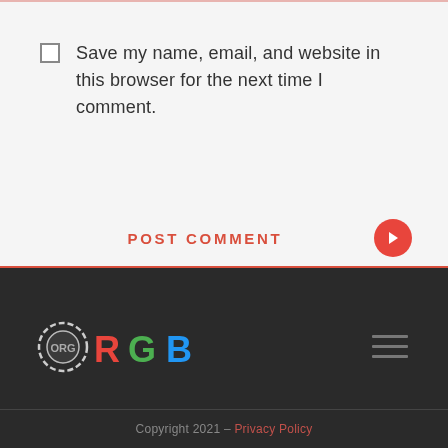Save my name, email, and website in this browser for the next time I comment.
POST COMMENT
[Figure (logo): RGB casino logo with colorful lettered tokens and a gear-like circular icon]
Copyright 2021 - Privacy Policy